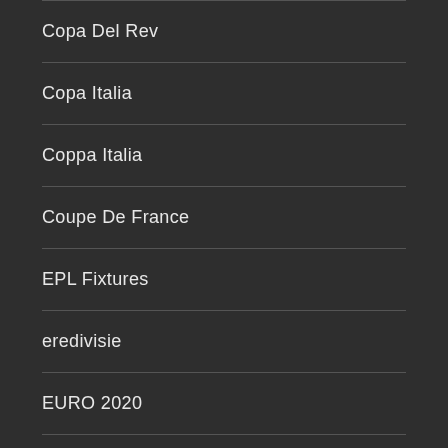Copa Del Rev
Copa Italia
Coppa Italia
Coupe De France
EPL Fixtures
eredivisie
EURO 2020
EURO 2022